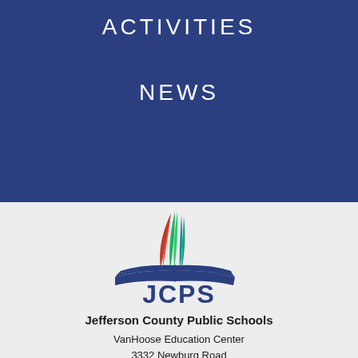ACTIVITIES
NEWS
[Figure (logo): JCPS logo with open book and three flame-like feathers in red, green, and teal, with JCPS text below]
Jefferson County Public Schools
VanHoose Education Center
3332 Newburg Road
Louisville, KY 40218
(502) 313-4357